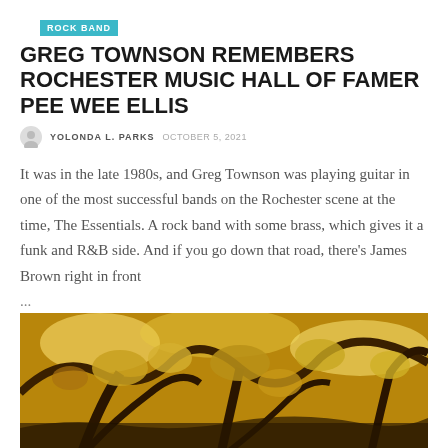ROCK BAND
GREG TOWNSON REMEMBERS ROCHESTER MUSIC HALL OF FAMER PEE WEE ELLIS
YOLONDA L. PARKS  OCTOBER 5, 2021
It was in the late 1980s, and Greg Townson was playing guitar in one of the most successful bands on the Rochester scene at the time, The Essentials. A rock band with some brass, which gives it a funk and R&B side. And if you go down that road, there's James Brown right in front ...
Read More
[Figure (photo): Nature photograph showing tree branches with golden/yellow foliage against a bright sky]